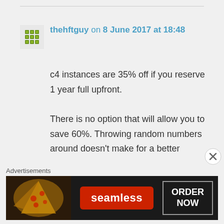thehftguy on 8 June 2017 at 18:48
c4 instances are 35% off if you reserve 1 year full upfront.

There is no option that will allow you to save 60%. Throwing random numbers around doesn't make for a better
Advertisements
[Figure (other): Seamless food delivery advertisement banner with pizza image on the left, Seamless red logo in the center, and ORDER NOW button on the right against a dark background]